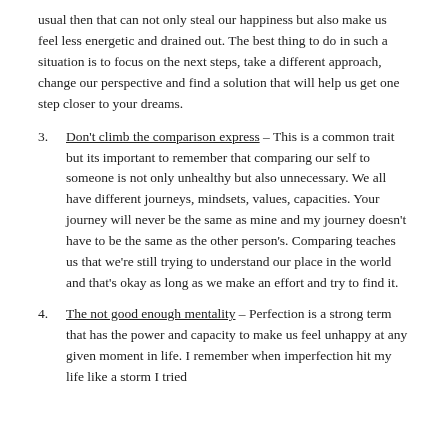usual then that can not only steal our happiness but also make us feel less energetic and drained out. The best thing to do in such a situation is to focus on the next steps, take a different approach, change our perspective and find a solution that will help us get one step closer to your dreams.
Don't climb the comparison express – This is a common trait but its important to remember that comparing our self to someone is not only unhealthy but also unnecessary. We all have different journeys, mindsets, values, capacities. Your journey will never be the same as mine and my journey doesn't have to be the same as the other person's. Comparing teaches us that we're still trying to understand our place in the world and that's okay as long as we make an effort and try to find it.
The not good enough mentality – Perfection is a strong term that has the power and capacity to make us feel unhappy at any given moment in life. I remember when imperfection hit my life like a storm I tried